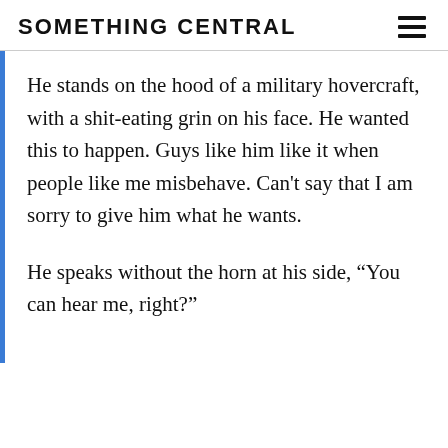SOMETHING CENTRAL
He stands on the hood of a military hovercraft, with a shit-eating grin on his face. He wanted this to happen. Guys like him like it when people like me misbehave. Can't say that I am sorry to give him what he wants.
He speaks without the horn at his side, “You can hear me, right?”